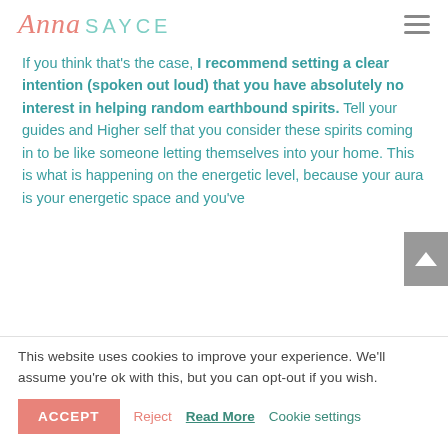Anna SAYCE
If you think that's the case, I recommend setting a clear intention (spoken out loud) that you have absolutely no interest in helping random earthbound spirits. Tell your guides and Higher self that you consider these spirits coming in to be like someone letting themselves into your home. This is what is happening on the energetic level, because your aura is your energetic space and you've
This website uses cookies to improve your experience. We'll assume you're ok with this, but you can opt-out if you wish.
ACCEPT | Reject | Read More | Cookie settings